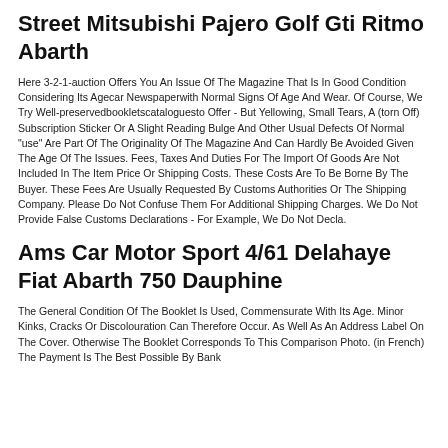Street Mitsubishi Pajero Golf Gti Ritmo Abarth
Here 3-2-1-auction Offers You An Issue Of The Magazine That Is In Good Condition Considering Its Agecar Newspaperwith Normal Signs Of Age And Wear. Of Course, We Try Well-preservedbookletscataloguesto Offer - But Yellowing, Small Tears, A (torn Off) Subscription Sticker Or A Slight Reading Bulge And Other Usual Defects Of Normal "use" Are Part Of The Originality Of The Magazine And Can Hardly Be Avoided Given The Age Of The Issues. Fees, Taxes And Duties For The Import Of Goods Are Not Included In The Item Price Or Shipping Costs. These Costs Are To Be Borne By The Buyer. These Fees Are Usually Requested By Customs Authorities Or The Shipping Company. Please Do Not Confuse Them For Additional Shipping Charges. We Do Not Provide False Customs Declarations - For Example, We Do Not Decla.
Ams Car Motor Sport 4/61 Delahaye Fiat Abarth 750 Dauphine
The General Condition Of The Booklet Is Used, Commensurate With Its Age. Minor Kinks, Cracks Or Discolouration Can Therefore Occur. As Well As An Address Label On The Cover. Otherwise The Booklet Corresponds To This Comparison Photo. (in French) The Payment Is The Best Possible By Bank